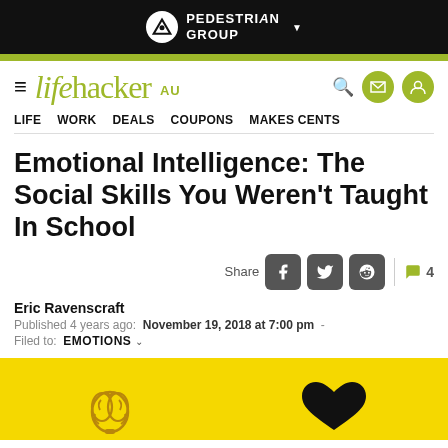PEDESTRIAN GROUP
[Figure (logo): Lifehacker AU logo with hamburger menu, search icon, email and user icons]
LIFE  WORK  DEALS  COUPONS  MAKES CENTS
Emotional Intelligence: The Social Skills You Weren't Taught In School
Share  [Facebook] [Twitter] [Reddit]  💬 4
Eric Ravenscraft
Published 4 years ago:  November 19, 2018 at 7:00 pm  -
Filed to:  EMOTIONS
[Figure (illustration): Yellow background with brain and heart icons for the article hero image]